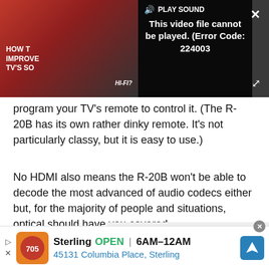[Figure (screenshot): Video player showing error message 'This video file cannot be played. (Error Code: 224003)' with PLAY SOUND button and close/expand controls over a thumbnail of a TV/hi-fi article]
program your TV's remote to control it. (The R-20B has its own rather dinky remote. It's not particularly classy, but it is easy to use.)
No HDMI also means the R-20B won't be able to decode the most advanced of audio codecs either but, for the majority of people and situations, optical should have you covered.
Advertisement
[Figure (screenshot): Google Maps advertisement for Sterling restaurant: OPEN 6AM–12AM, 45131 Columbia Place, Sterling]